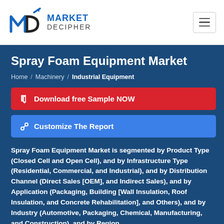Market Decipher
Spray Foam Equipment Market
Home / Machinery / Industrial Equipment
Download free Sample NOW
Customize The Report
Spray Foam Equipment Market is segmented by Product Type (Closed Cell and Open Cell), and by Infrastructure Type (Residential, Commercial, and Industrial), and by Distribution Channel (Direct Sales [OEM], and Indirect Sales), and by Application (Packaging, Building [Wall Insulation, Roof Insulation, and Concrete Rehabilitation], and Others), and by Industry (Automotive, Packaging, Chemical, Manufacturing, and Construction), and by Region